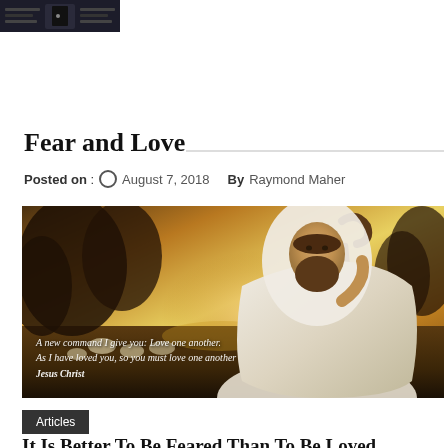[Figure (photo): Dark thumbnail image at top left, appears to show a door or gateway with light]
Fear and Love
Posted on : August 7, 2018   By Raymond Maher
[Figure (photo): Painting of Jesus as the Good Shepherd carrying a staff at sunset with sheep in background. Text overlay reads: A new command I give you: Love one another. As I have loved you, so you must love one another. Jesus Christ]
Articles
It Is Better To Be Feared Than To Be Loved